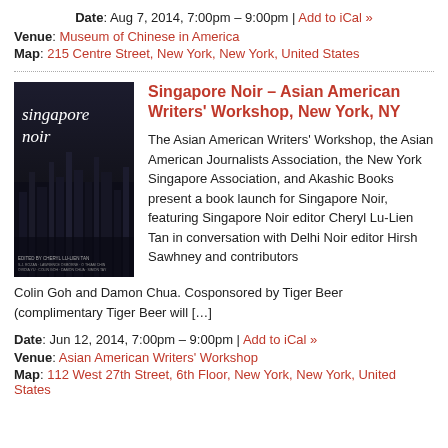Date: Aug 7, 2014, 7:00pm – 9:00pm | Add to iCal »
Venue: Museum of Chinese in America
Map: 215 Centre Street, New York, New York, United States
Singapore Noir – Asian American Writers' Workshop, New York, NY
[Figure (photo): Book cover of Singapore Noir, dark cityscape with text]
The Asian American Writers' Workshop, the Asian American Journalists Association, the New York Singapore Association, and Akashic Books present a book launch for Singapore Noir, featuring Singapore Noir editor Cheryl Lu-Lien Tan in conversation with Delhi Noir editor Hirsh Sawhney and contributors Colin Goh and Damon Chua. Cosponsored by Tiger Beer (complimentary Tiger Beer will […]
Date: Jun 12, 2014, 7:00pm – 9:00pm | Add to iCal »
Venue: Asian American Writers' Workshop
Map: 112 West 27th Street, 6th Floor, New York, New York, United States